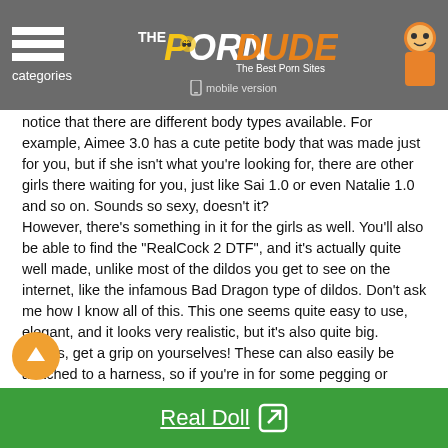categories | THE PORN DUDE - The Best Porn Sites | mobile version
notice that there are different body types available. For example, Aimee 3.0 has a cute petite body that was made just for you, but if she isn't what you're looking for, there are other girls there waiting for you, just like Sai 1.0 or even Natalie 1.0 and so on. Sounds so sexy, doesn't it? However, there's something in it for the girls as well. You'll also be able to find the “RealCock 2 DTF”, and it's actually quite well made, unlike most of the dildos you get to see on the internet, like the infamous Bad Dragon type of dildos. Don't ask me how I know all of this. This one seems quite easy to use, elegant, and it looks very realistic, but it's also quite big. Ladies, get a grip on yourselves! These can also easily be attached to a harness, so if you're in for some pegging or strap-on action with your girlfriend, then you'll definitively have kinky sex with this toy. It comes with a price of around $499, though. Damn! However, seeing that the design of the page looks very high-
Real Doll ⧉